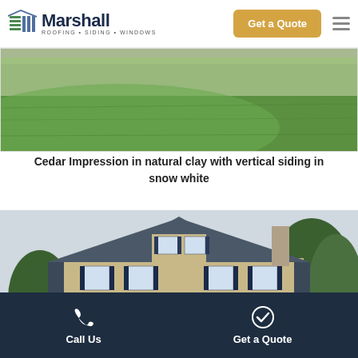[Figure (logo): Marshall Roofing Siding Windows logo with stylized building icon]
[Figure (photo): Aerial/close-up view of green lawn with landscaping border]
Cedar Impression in natural clay with vertical siding in snow white
[Figure (photo): Two-story house with blue-gray shingle roof, tan vinyl siding, white porch, and dark shutters. Overlaid category buttons: Doors, Roofing, Siding, Windows]
Call Us   Get a Quote